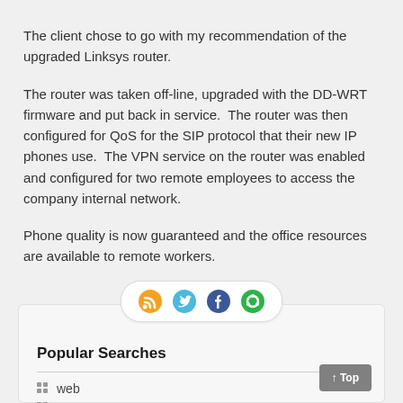The client chose to go with my recommendation of the upgraded Linksys router.
The router was taken off-line, upgraded with the DD-WRT firmware and put back in service.  The router was then configured for QoS for the SIP protocol that their new IP phones use.  The VPN service on the router was enabled and configured for two remote employees to access the company internal network.
Phone quality is now guaranteed and the office resources are available to remote workers.
[Figure (infographic): Social sharing icons bar with RSS, Twitter, Facebook, and another icon in a rounded pill container]
Popular Searches
web
register
contact